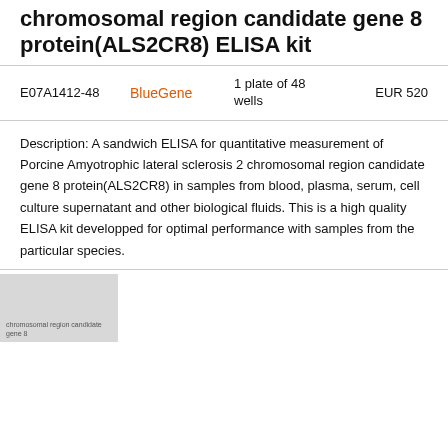chromosomal region candidate gene 8 protein(ALS2CR8) ELISA kit
| Product ID | Brand | Quantity | Price |
| --- | --- | --- | --- |
| E07A1412-48 | BlueGene | 1 plate of 48 wells | EUR 520 |
Description: A sandwich ELISA for quantitative measurement of Porcine Amyotrophic lateral sclerosis 2 chromosomal region candidate gene 8 protein(ALS2CR8) in samples from blood, plasma, serum, cell culture supernatant and other biological fluids. This is a high quality ELISA kit developped for optimal performance with samples from the particular species.
[Figure (photo): Thumbnail image of chromosomal region candidate gene 8 protein kit]